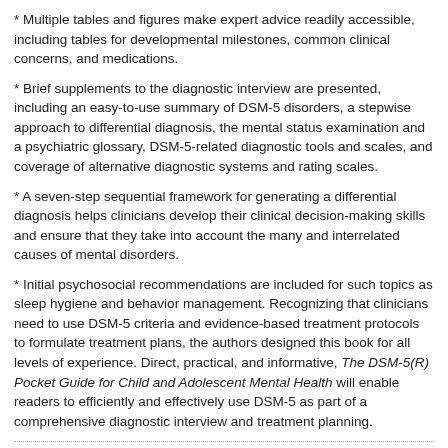* Multiple tables and figures make expert advice readily accessible, including tables for developmental milestones, common clinical concerns, and medications.
* Brief supplements to the diagnostic interview are presented, including an easy-to-use summary of DSM-5 disorders, a stepwise approach to differential diagnosis, the mental status examination and a psychiatric glossary, DSM-5-related diagnostic tools and scales, and coverage of alternative diagnostic systems and rating scales.
* A seven-step sequential framework for generating a differential diagnosis helps clinicians develop their clinical decision-making skills and ensure that they take into account the many and interrelated causes of mental disorders.
* Initial psychosocial recommendations are included for such topics as sleep hygiene and behavior management. Recognizing that clinicians need to use DSM-5 criteria and evidence-based treatment protocols to formulate treatment plans, the authors designed this book for all levels of experience. Direct, practical, and informative, The DSM-5(R) Pocket Guide for Child and Adolescent Mental Health will enable readers to efficiently and effectively use DSM-5 as part of a comprehensive diagnostic interview and treatment planning.
Customer Reviews
Customer Reviews